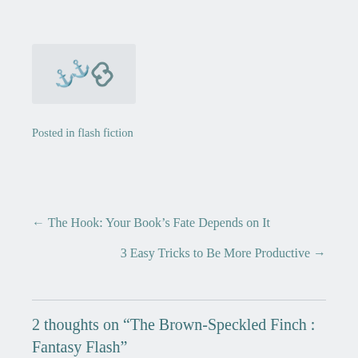[Figure (other): Chain link icon inside a light grey rounded rectangle box]
Posted in flash fiction
← The Hook: Your Book's Fate Depends on It
3 Easy Tricks to Be More Productive →
2 thoughts on “The Brown-Speckled Finch : Fantasy Flash”